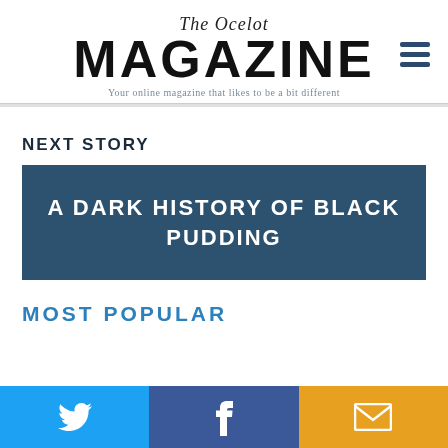The Ocelot MAGAZINE — Your online magazine that likes to be a bit different
NEXT STORY
A dark history of black pudding
MOST POPULAR
Twitter | Facebook | Email